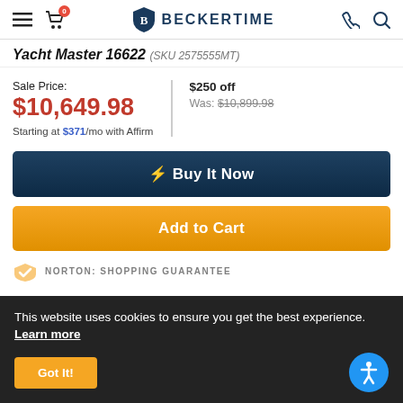BECKERTIME
Yacht Master 16622 (SKU 2575555MT)
Sale Price: $10,649.98 Starting at $371/mo with Affirm | $250 off Was: $10,899.98
⚡ Buy It Now
Add to Cart
[Figure (logo): Norton Shopping Guarantee logo]
This website uses cookies to ensure you get the best experience. Learn more
Got It!